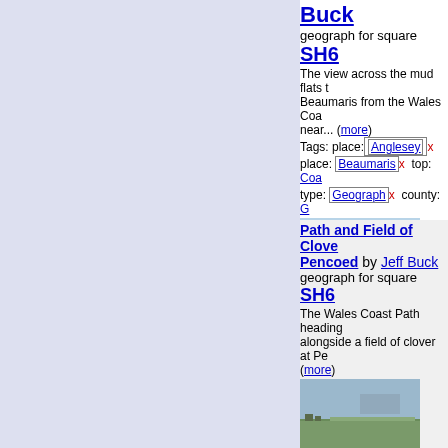[Figure (photo): Coastal mud flats / beach scene near Beaumaris, Wales]
Buck
geograph for square SH6
The view across the mud flats to Beaumaris from the Wales Coa... (more)
Tags: place: Anglesey x
place: Beaumaris x  top: Coa
type: Geograph x  county: G
Menai Strait x  Mud Flats x
country: Wales x  Wales Co
Wales Coast Path x
[Figure (photo): Path and field of clover at Pencoed, Wales Coast Path]
Path and Field of Clove Pencoed by Jeff Buck
geograph for square SH6
The Wales Coast Path heading alongside a field of clover at Pe (more)
Tags: crop: Clover x  Clover
Clover Crop x  Clover Field
top: Coastal x
top: Farm, Fishery, Market G